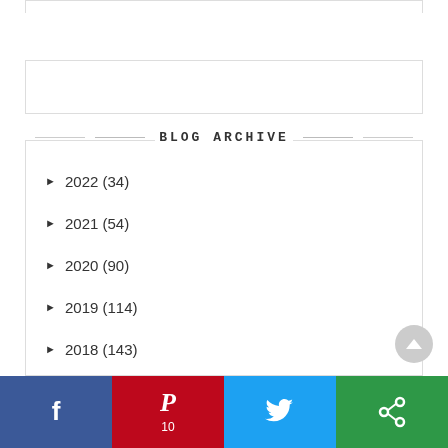BLOG ARCHIVE
► 2022 (34)
► 2021 (54)
► 2020 (90)
► 2019 (114)
► 2018 (143)
► 2017 (169)
► 2016 (174)
▼ 2015 (197)